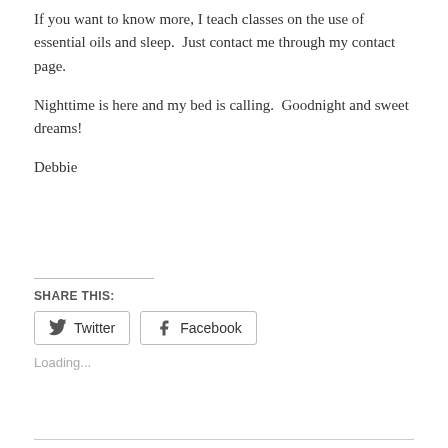If you want to know more, I teach classes on the use of essential oils and sleep.  Just contact me through my contact page.
Nighttime is here and my bed is calling.  Goodnight and sweet dreams!
Debbie
SHARE THIS:
[Figure (other): Twitter and Facebook share buttons]
Loading...